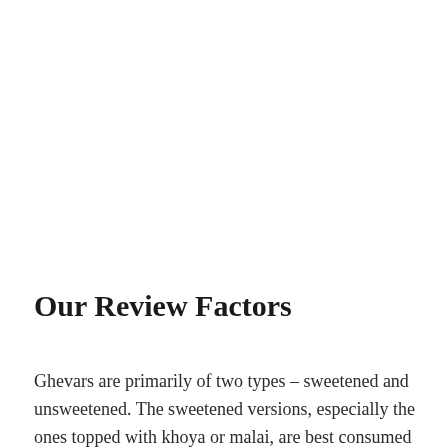Our Review Factors
Ghevars are primarily of two types – sweetened and unsweetened. The sweetened versions, especially the ones topped with khoya or malai, are best consumed